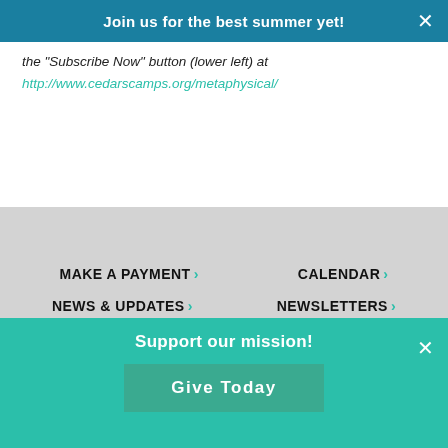Join us for the best summer yet!
the "Subscribe Now" button (lower left) at http://www.cedarscamps.org/metaphysical/
MAKE A PAYMENT ›
CALENDAR ›
NEWS & UPDATES ›
NEWSLETTERS ›
SUMMER CAMP
Enroll
INFORMATION
Parents & Staff Sign-in
Support our mission! Give Today